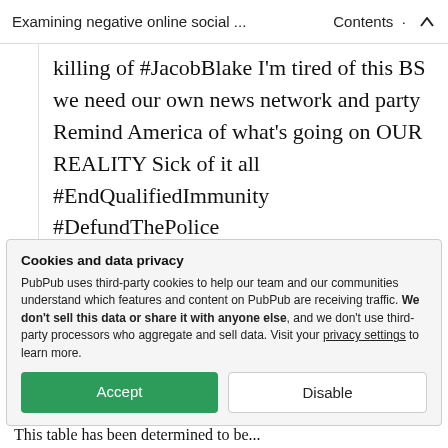Examining negative online social … · Contents · ↑
killing of #JacobBlake I'm tired of this BS we need our own news network and party Remind America of what's going on OUR REALITY Sick of it all #EndQualifiedImmunity #DefundThePolice
Cookies and data privacy
PubPub uses third-party cookies to help our team and our communities understand which features and content on PubPub are receiving traffic. We don't sell this data or share it with anyone else, and we don't use third-party processors who aggregate and sell data. Visit your privacy settings to learn more.
[Accept] [Disable]
This table has been determined to be...